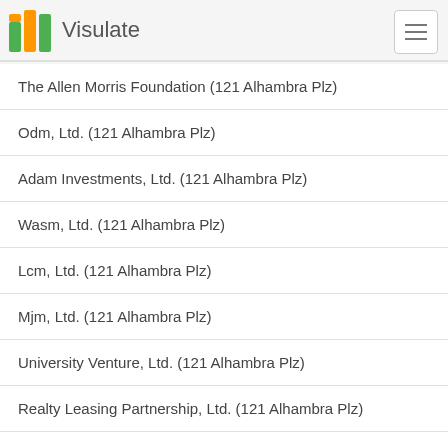Visulate
The Allen Morris Foundation (121 Alhambra Plz)
Odm, Ltd. (121 Alhambra Plz)
Adam Investments, Ltd. (121 Alhambra Plz)
Wasm, Ltd. (121 Alhambra Plz)
Lcm, Ltd. (121 Alhambra Plz)
Mjm, Ltd. (121 Alhambra Plz)
University Venture, Ltd. (121 Alhambra Plz)
Realty Leasing Partnership, Ltd. (121 Alhambra Plz)
1000 Brickell, Ltd. (121 Alhambra Plz)
Plz, Ltd. (121 Alhambra Plz)